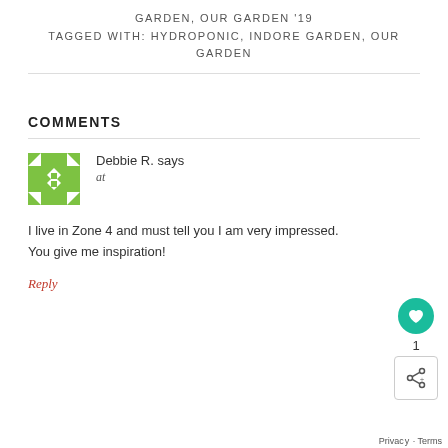GARDEN, OUR GARDEN '19
TAGGED WITH: HYDROPONIC, INDORE GARDEN, OUR GARDEN
COMMENTS
Debbie R. says
at
I live in Zone 4 and must tell you I am very impressed. You give me inspiration!
Reply